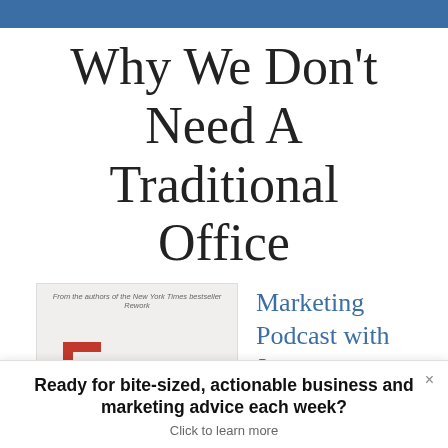Why We Don’t Need A Traditional Office
[Figure (photo): Book cover showing text 'From the authors of the New York Times bestseller Rework' and a partial red geometric shape]
Marketing Podcast with Jason
Ready for bite-sized, actionable business and marketing advice each week? Click to learn more